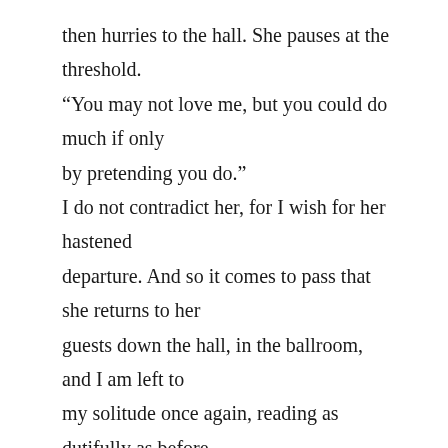then hurries to the hall. She pauses at the threshold. “You may not love me, but you could do much if only by pretending you do.” I do not contradict her, for I wish for her hastened departure. And so it comes to pass that she returns to her guests down the hall, in the ballroom, and I am left to my solitude once again, reading as dutifully as before, which is to say, intermittently plagued by petty distractions. The Duchess is not incorrect. I do not love her. I do not love anything, including myself. Neither do I detest her, or myself. It is this reality that I detest. So long as it reigns indisputably over us then I will detest it. Alas, I cannot escape it— this waking nightmare that is tedium. So much means and wealth at my beck and call, yet nothing affords me true relief. Epicurean